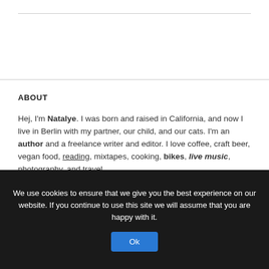ABOUT
Hej, I'm Natalye. I was born and raised in California, and now I live in Berlin with my partner, our child, and our cats. I'm an author and a freelance writer and editor. I love coffee, craft beer, vegan food, reading, mixtapes, cooking, bikes, live music, photography, and travel.
We use cookies to ensure that we give you the best experience on our website. If you continue to use this site we will assume that you are happy with it.